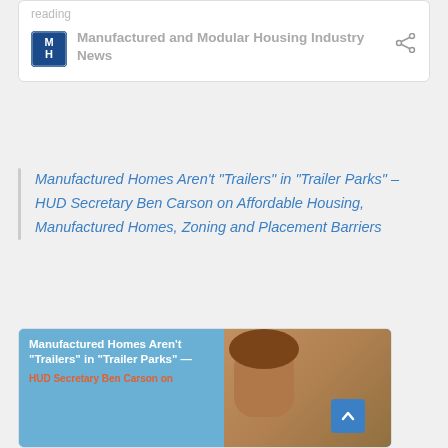reading
Manufactured and Modular Housing Industry News
Manufactured Homes Aren’t “Trailers” in “Trailer Parks” – HUD Secretary Ben Carson on Affordable Housing, Manufactured Homes, Zoning and Placement Barriers
[Figure (photo): Article thumbnail showing white text on blue background reading 'Manufactured Homes Aren’t "Trailers" in "Trailer Parks" —' with 'HUD Secretary Ben Carson on' in orange/red, and a photo of Ben Carson on the right side.]